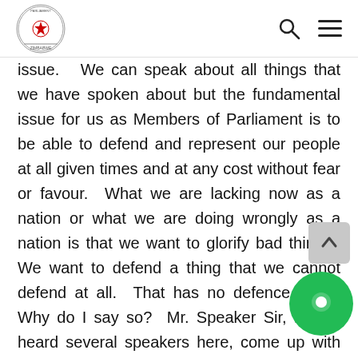Parliament of Zimbabwe
issue.   We can speak about all things that we have spoken about but the fundamental issue for us as Members of Parliament is to be able to defend and represent our people at all given times and at any cost without fear or favour.  What we are lacking now as a nation or what we are doing wrongly as a nation is that we want to glorify bad things.  We want to defend a thing that we cannot defend at all.  That has no defence at all.  Why do I say so?  Mr. Speaker Sir, I have heard several speakers here, come up with their contribution about the demise of Hwange Colliery Company, but I will tell you one thing, the question comes back to management of the company.  People have been put and entrusted with running that company as a parastatal and while they are doing that, have we taken time to assess and see how